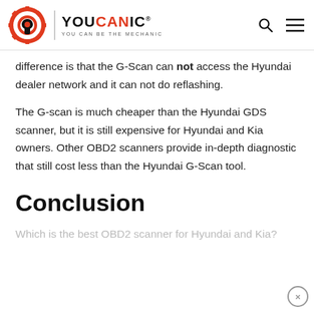YOUCANIC — YOU CAN BE THE MECHANIC
difference is that the G-Scan can not access the Hyundai dealer network and it can not do reflashing.
The G-scan is much cheaper than the Hyundai GDS scanner, but it is still expensive for Hyundai and Kia owners. Other OBD2 scanners provide in-depth diagnostic that still cost less than the Hyundai G-Scan tool.
Conclusion
Which is the best OBD2 scanner for Hyundai and Kia?